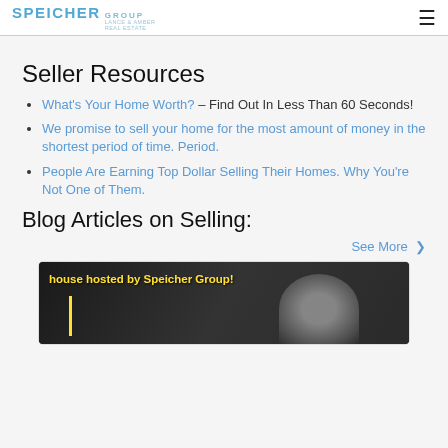SPEICHER GROUP
Seller Resources
What's Your Home Worth? – Find Out In Less Than 60 Seconds!
We promise to sell your home for the most amount of money in the shortest period of time. Period.
People Are Earning Top Dollar Selling Their Homes. Why You're Not One of Them.
Blog Articles on Selling:
See More >
[Figure (photo): Blog article thumbnail showing text 'house hosted by Speicher Group!' in yellow on a dark background with a blurred image of a dog or person with light hair and a yellow vertical line accent.]